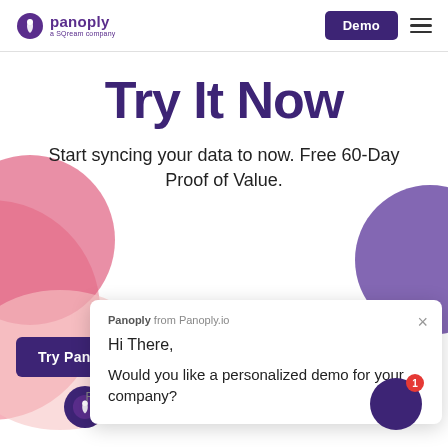panoply a SQream company | Demo
Try It Now
Start syncing your data to now. Free 60-Day Proof of Value.
[Figure (screenshot): Try Panoply button (purple) with Panoply logo icon below]
[Figure (screenshot): Chat popup overlay: 'Panoply from Panoply.io' header, 'Hi There,' greeting, 'Would you like a personalized demo for your company?' message, with close X button]
Free 60-Day Proof of Value. No credit card required.
[Figure (screenshot): Purple chat notification circle with red badge showing '1']